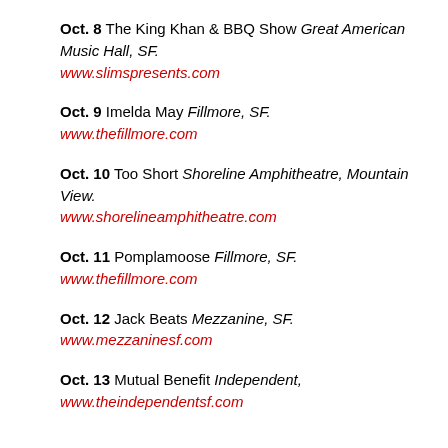Oct. 8 The King Khan & BBQ Show Great American Music Hall, SF. www.slimspresents.com
Oct. 9 Imelda May Fillmore, SF. www.thefillmore.com
Oct. 10 Too Short Shoreline Amphitheatre, Mountain View. www.shorelineamphitheatre.com
Oct. 11 Pomplamoose Fillmore, SF. www.thefillmore.com
Oct. 12 Jack Beats Mezzanine, SF. www.mezzaninesf.com
Oct. 13 Mutual Benefit Independent, www.theindependentsf.com